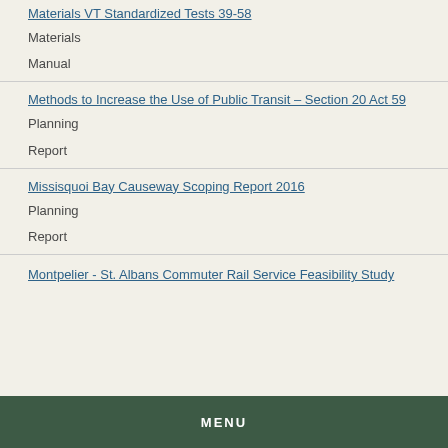Materials VT Standardized Tests 39-58
Materials
Manual
Methods to Increase the Use of Public Transit – Section 20 Act 59
Planning
Report
Missisquoi Bay Causeway Scoping Report 2016
Planning
Report
Montpelier - St. Albans Commuter Rail Service Feasibility Study
MENU